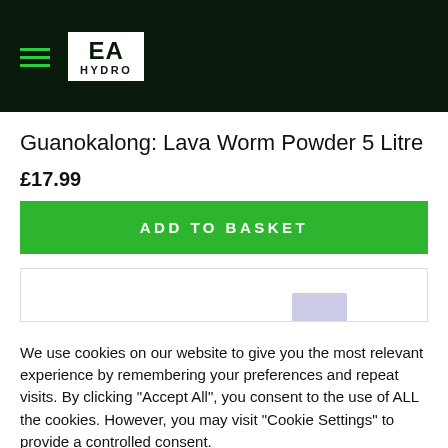[Figure (logo): EA Hydro logo — white EA text with HYDRO below, on dark green/black header background, with hamburger menu icon in green]
Guanokalong: Lava Worm Powder 5 Litre
£17.99
ADD TO BASKET
[Figure (photo): Partially visible product image thumbnail]
We use cookies on our website to give you the most relevant experience by remembering your preferences and repeat visits. By clicking "Accept All", you consent to the use of ALL the cookies. However, you may visit "Cookie Settings" to provide a controlled consent.
Cookie Settings
Accept All